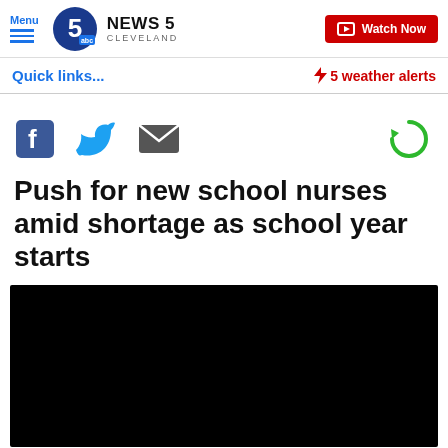Menu | NEWS 5 CLEVELAND | Watch Now
Quick links... ⚡ 5 weather alerts
[Figure (screenshot): Social share icons: Facebook, Twitter, Email, and a green refresh/share icon]
Push for new school nurses amid shortage as school year starts
[Figure (photo): Black video thumbnail placeholder]